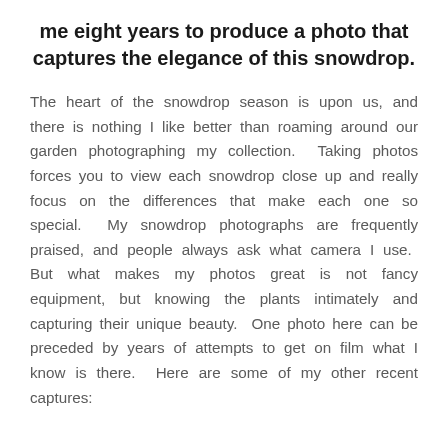me eight years to produce a photo that captures the elegance of this snowdrop.
The heart of the snowdrop season is upon us, and there is nothing I like better than roaming around our garden photographing my collection.  Taking photos forces you to view each snowdrop close up and really focus on the differences that make each one so special.  My snowdrop photographs are frequently praised, and people always ask what camera I use.  But what makes my photos great is not fancy equipment, but knowing the plants intimately and capturing their unique beauty.  One photo here can be preceded by years of attempts to get on film what I know is there.  Here are some of my other recent captures: